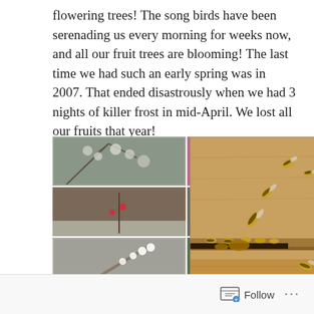flowering trees! The song birds have been serenading us every morning for weeks now, and all our fruit trees are blooming! The last time we had such an early spring was in 2007. That ended disastrously when we had 3 nights of killer frost in mid-April. We lost all our fruits that year!
[Figure (photo): Left: a 3x2 photo collage of flowering trees including pink blossoms and white flowers on various fruit trees, with a PicCollage watermark. Right: a photo of honeybees on wooden beehive boards, with several bees visible in flight and on the landing board.]
Follow ...